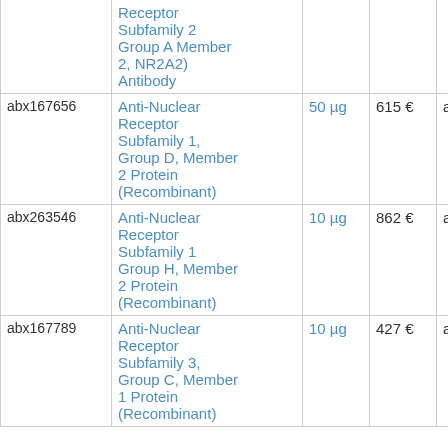| ID | Name | Qty | Price | Supplier | Species |
| --- | --- | --- | --- | --- | --- |
|  | Receptor Subfamily 2 Group A Member 2, NR2A2) Antibody |  |  |  |  |
| abx167656 | Anti-Nuclear Receptor Subfamily 1, Group D, Member 2 Protein (Recombinant) | 50 µg | 615 € | abbex | human |
| abx263546 | Anti-Nuclear Receptor Subfamily 1 Group H, Member 2 Protein (Recombinant) | 10 µg | 862 € | abbex | human |
| abx167789 | Anti-Nuclear Receptor Subfamily 3, Group C, Member 1 Protein (Recombinant) | 10 µg | 427 € | abbex | human |